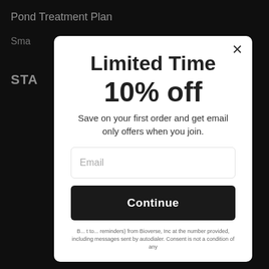Pond Treatment Plan
Sma
STA
Limited Time
10% off
Save on your first order and get email only offers when you join.
Email
Continue
B... t to... reminders) from Bioverse, Inc at the number provided, including messages sent by autodialer. Consent is not a condition of any